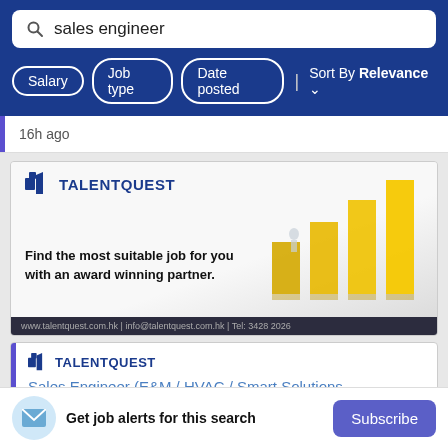sales engineer
Salary  Job type  Date posted  | Sort By Relevance
16h ago
[Figure (illustration): TalentQuest advertisement banner: logo at top left, tagline 'Find the most suitable job for you with an award winning partner.' with gold bars and figure graphic on right side. Footer: www.talentquest.com.hk | info@talentquest.com.hk | Tel: 3428 2026]
TalentQuest
Sales Engineer (E&M / HVAC / Smart Solutions
Get job alerts for this search
Subscribe